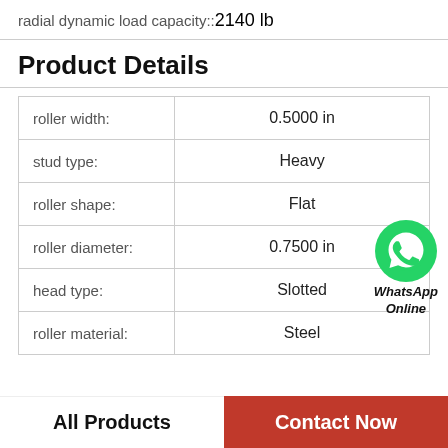radial dynamic load capacity::2140 lb
Product Details
| Property | Value |
| --- | --- |
| roller width: | 0.5000 in |
| stud type: | Heavy |
| roller shape: | Flat |
| roller diameter: | 0.7500 in |
| head type: | Slotted |
| roller material: | Steel |
[Figure (logo): WhatsApp Online green phone icon badge with text 'WhatsApp Online']
All Products    Contact Now